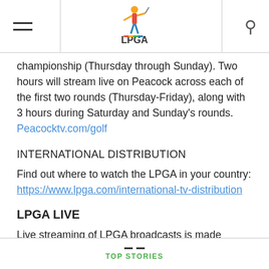LPGA [logo, menu, search]
championship (Thursday through Sunday). Two hours will stream live on Peacock across each of the first two rounds (Thursday-Friday), along with 3 hours during Saturday and Sunday's rounds. Peacocktv.com/golf
INTERNATIONAL DISTRIBUTION
Find out where to watch the LPGA in your country: https://www.lpga.com/international-tv-distribution
LPGA LIVE
Live streaming of LPGA broadcasts is made available to countries without a TV broadcast partner: https://www.lpga.com/videos/live
TOP STORIES